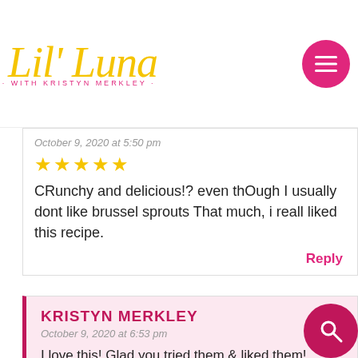[Figure (logo): Lil' Luna with Kristyn Merkley script logo in gold/yellow with pink subtitle and hamburger menu button]
October 9, 2020 at 5:50 pm
★★★★★
CRunchy and delicious!? even thOugh I usually dont like brussel sprouts That much, i reall liked this recipe.
Reply
KRISTYN MERKLEY
October 9, 2020 at 6:53 pm
I love this! Glad you tried them & liked them! Thank you!
Reply
KRISTYN MURPHY
October 25, 2020 at 8:30 am